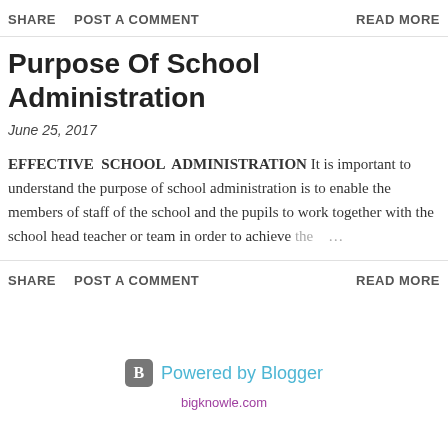SHARE   POST A COMMENT   READ MORE
Purpose Of School Administration
June 25, 2017
EFFECTIVE SCHOOL ADMINISTRATION It is important to understand the purpose of school administration is to enable the members of staff of the school and the pupils to work together with the school head teacher or team in order to achieve the …
SHARE   POST A COMMENT   READ MORE
[Figure (logo): Powered by Blogger logo with B icon]
bigknowle.com